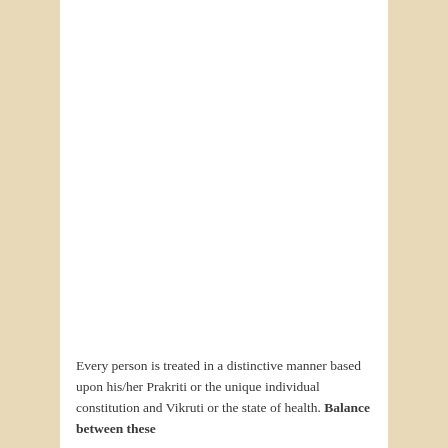Every person is treated in a distinctive manner based upon his/her Prakriti or the unique individual constitution and Vikruti or the state of health. Balance between these